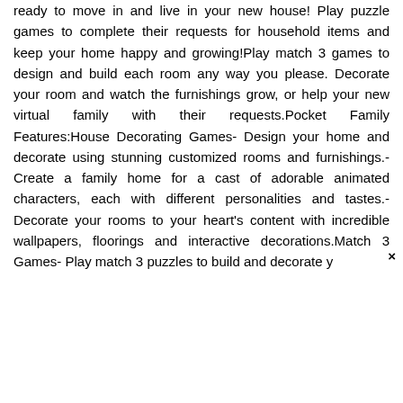ready to move in and live in your new house! Play puzzle games to complete their requests for household items and keep your home happy and growing!Play match 3 games to design and build each room any way you please. Decorate your room and watch the furnishings grow, or help your new virtual family with their requests.Pocket Family Features:House Decorating Games- Design your home and decorate using stunning customized rooms and furnishings.- Create a family home for a cast of adorable animated characters, each with different personalities and tastes.- Decorate your rooms to your heart's content with incredible wallpapers, floorings and interactive decorations.Match 3 Games- Play match 3 puzzles to build and decorate y